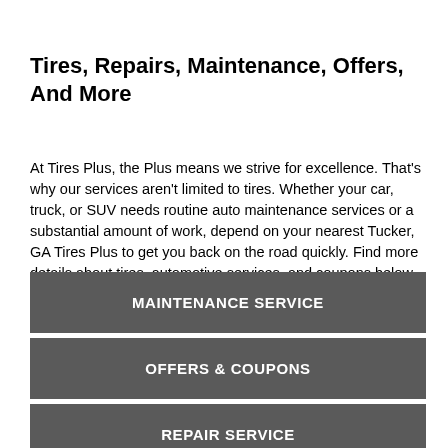Tires, Repairs, Maintenance, Offers, And More
At Tires Plus, the Plus means we strive for excellence. That's why our services aren't limited to tires. Whether your car, truck, or SUV needs routine auto maintenance services or a substantial amount of work, depend on your nearest Tucker, GA Tires Plus to get you back on the road quickly. Find more details about tires, automotive services, and coupons below.
MAINTENANCE SERVICE
OFFERS & COUPONS
REPAIR SERVICE
SHOP FOR TIRES